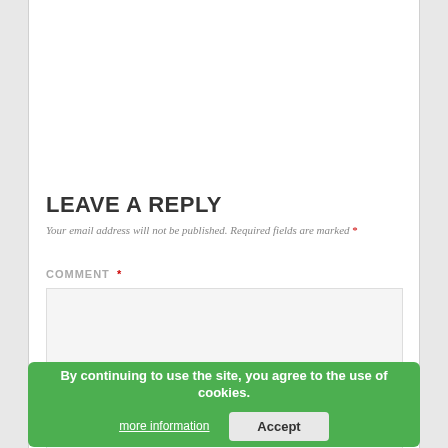LEAVE A REPLY
Your email address will not be published. Required fields are marked *
COMMENT *
[Figure (screenshot): Empty comment textarea input box with light gray background]
NAME *
[Figure (screenshot): Cookie consent banner: 'By continuing to use the site, you agree to the use of cookies.' with 'more information' and 'Accept' buttons]
EMAIL *